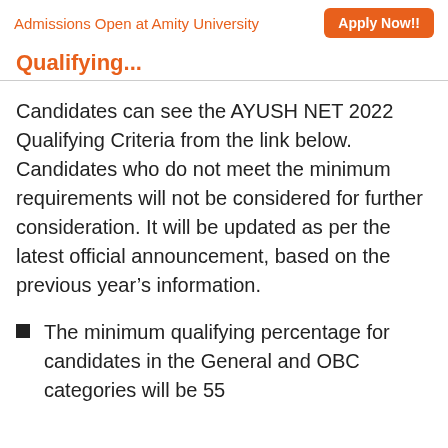Admissions Open at Amity University  Apply Now!!
Qualifying...
Candidates can see the AYUSH NET 2022 Qualifying Criteria from the link below. Candidates who do not meet the minimum requirements will not be considered for further consideration. It will be updated as per the latest official announcement, based on the previous year's information.
The minimum qualifying percentage for candidates in the General and OBC categories will be 55